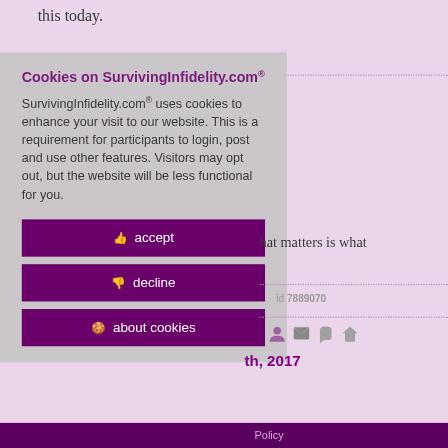this today.
Cookies on SurvivingInfidelity.com®
SurvivingInfidelity.com® uses cookies to enhance your visit to our website. This is a requirement for participants to login, post and use other features. Visitors may opt out, but the website will be less functional for you.
accept
decline
about cookies
hat matters is what
id 7889070
th, 2017
Policy